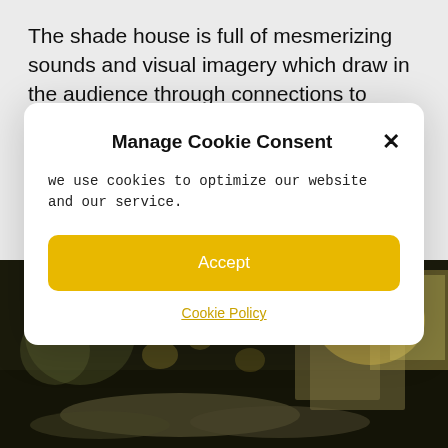The shade house is full of mesmerizing sounds and visual imagery which draw in the audience through connections to family and memory.
[Figure (photo): Dark interior room with draped fabric/sheets on the floor and projections of light patterns on walls and fabric, suggesting an artistic installation]
Manage Cookie Consent
we use cookies to optimize our website and our service.
Accept
Cookie Policy